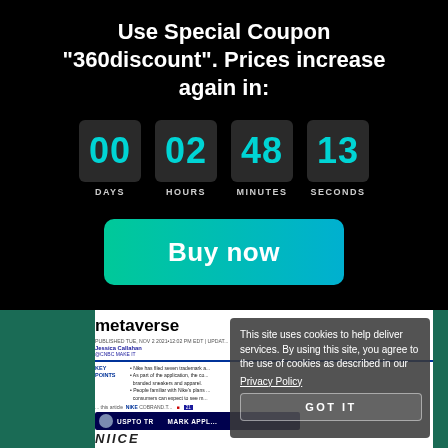Use Special Coupon "360discount". Prices increase again in:
[Figure (infographic): Countdown timer showing 00 DAYS, 02 HOURS, 48 MINUTES, 13 SECONDS in teal digits on dark boxes]
Buy now
[Figure (screenshot): Screenshot of a metaverse article page with cookie consent overlay reading: This site uses cookies to help deliver services. By using this site, you agree to the use of cookies as described in our Privacy Policy. GOT IT]
This site uses cookies to help deliver services. By using this site, you agree to the use of cookies as described in our Privacy Policy. GOT IT